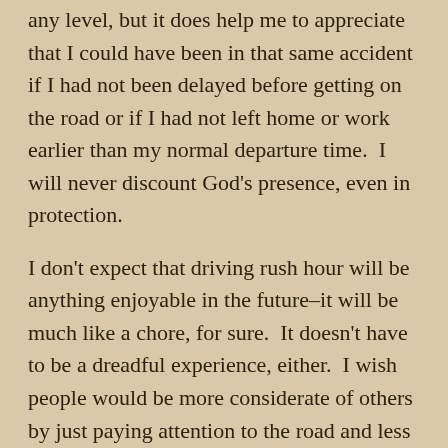any level, but it does help me to appreciate that I could have been in that same accident if I had not been delayed before getting on the road or if I had not left home or work earlier than my normal departure time.  I will never discount God's presence, even in protection.
I don't expect that driving rush hour will be anything enjoyable in the future–it will be much like a chore, for sure.  It doesn't have to be a dreadful experience, either.  I wish people would be more considerate of others by just paying attention to the road and less attention to their electronics.  Driving used to be enjoyable, but it has become less about transportation and more about self-preservation.